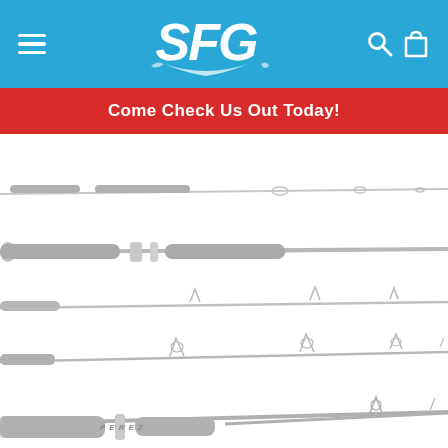SFG fishing gear website header with hamburger menu, SFG logo, search icon and shopping bag icon
Come Check Us Out Today!
[Figure (photo): Multiple fishing rods arranged horizontally showing handles, guides/eyes along the rod blanks, and at the bottom a rod butt with PEREZ branding visible]